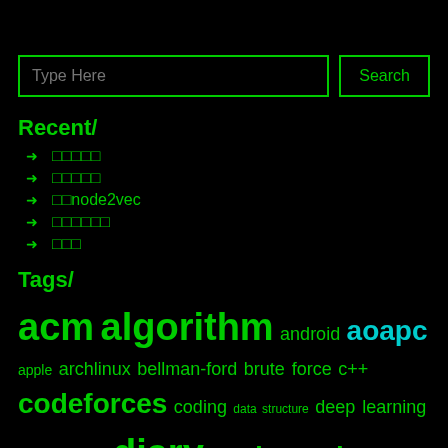Type Here [search input]
Recent/
→ □□□□□
→ □□□□□
→ □□node2vec
→ □□□□□□
→ □□□
Tags/
acm algorithm android aoapc apple archlinux bellman-ford brute force c++ codeforces coding data structure deep learning devops dfs diary dos dynamic programming editor embedding fcitx floyd-warsall git graph hungarian life linux machine learning mathematic movies poi python